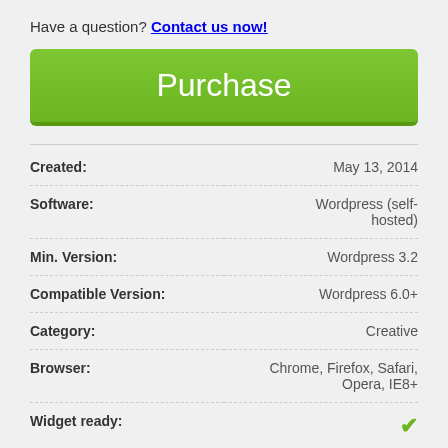Have a question? Contact us now!
[Figure (other): Green Purchase button]
| Created: | May 13, 2014 |
| Software: | Wordpress (self-hosted) |
| Min. Version: | Wordpress 3.2 |
| Compatible Version: | Wordpress 6.0+ |
| Category: | Creative |
| Browser: | Chrome, Firefox, Safari, Opera, IE8+ |
| Widget ready: | ✓ |